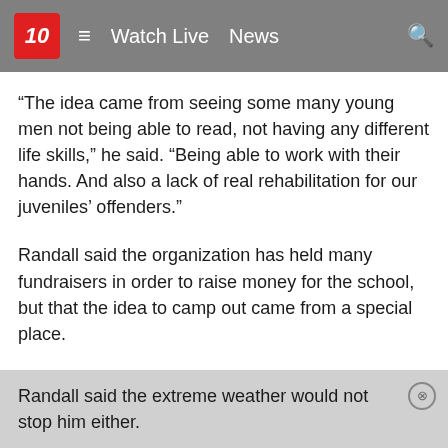10  ≡  Watch Live  News
“The idea came from seeing some many young men not being able to read, not having any different life skills,” he said. “Being able to work with their hands. And also a lack of real rehabilitation for our juveniles’ offenders.”
Randall said the organization has held many fundraisers in order to raise money for the school, but that the idea to camp out came from a special place.
“I went to Chicago with Pastor Brooks, who’s the rooftop pastor there,” Randall said. “He’s raised money for a community center in the most dangerous block in Chicago. And he’s raised about $12 million for just being on the roof and not coming down in the cold.”
Randall said the extreme weather would not stop him either.